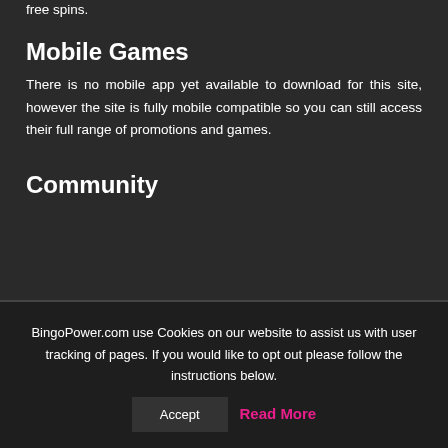free spins.
Mobile Games
There is no mobile app yet available to download for this site, however the site is fully mobile compatible so you can still access their full range of promotions and games.
Community
BingoPower.com use Cookies on our website to assist us with user tracking of pages. If you would like to opt out please follow the instructions below.
Accept
Read More